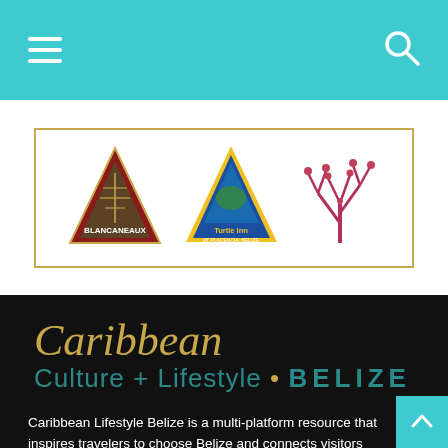Navigation bar with hamburger menu and search icon
[Figure (logo): Three resort logos inside a gold-bordered white box: Blancaneaux (red/green triangle logo), Turtle Inn (blue triangle logo), and a red coral/tree logo]
[Figure (logo): Caribbean Culture + Lifestyle • BELIZE brand logo in gold script and teal sans-serif lettering on dark background]
Caribbean Lifestyle Belize is a multi-platform resource that inspires travelers to choose Belize and connects visitors